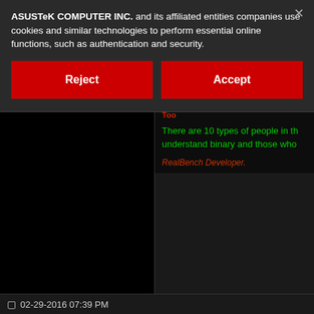[Figure (screenshot): ASUS website cookie consent banner overlay on a dark forum page. The banner shows text about cookies and two red buttons: Reject and Accept. Behind the banner is a dark forum thread with green and red text links visible.]
ASUSTeK COMPUTER INC. and its affiliated entities companies use cookies and similar technologies to perform essential online functions, such as authentication and security.
Reject
Accept
I need more information. A screenshot for
RAMPAGE Windows 8/7 UEFI Installation in RAID - Patched UEFI GOP Updater Too
There are 10 types of people in th understand binary and those who
RealBench Developer.
02-29-2016 07:39 PM